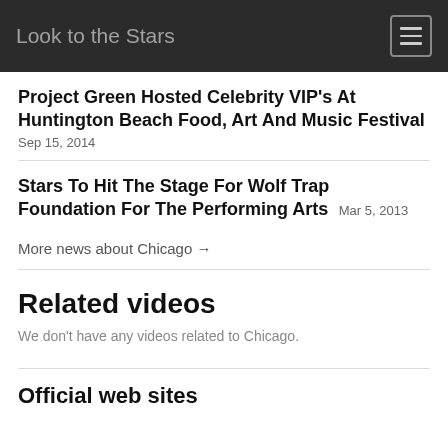Look to the Stars
Project Green Hosted Celebrity VIP's At Huntington Beach Food, Art And Music Festival
Sep 15, 2014
Stars To Hit The Stage For Wolf Trap Foundation For The Performing Arts
Mar 5, 2013
More news about Chicago →
Related videos
We don't have any videos related to Chicago.
Official web sites